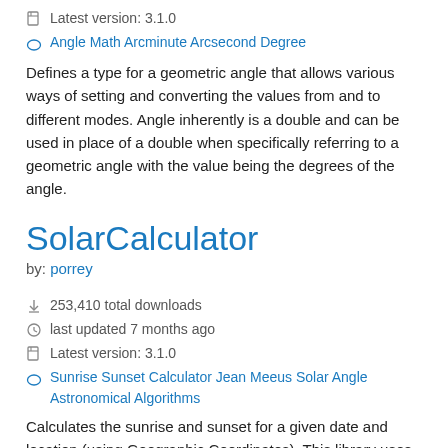Latest version: 3.1.0
Angle Math Arcminute Arcsecond Degree
Defines a type for a geometric angle that allows various ways of setting and converting the values from and to different modes. Angle inherently is a double and can be used in place of a double when specifically referring to a geometric angle with the value being the degrees of the angle.
SolarCalculator
by: porrey
253,410 total downloads
last updated 7 months ago
Latest version: 3.1.0
Sunrise Sunset Calculator Jean Meeus Solar Angle Astronomical Algorithms
Calculates the sunrise and sunset for a given date and location (using Geographic Coordinates). This library uses the method outlined NOAA Solar Calculations Day spreadsheet found at